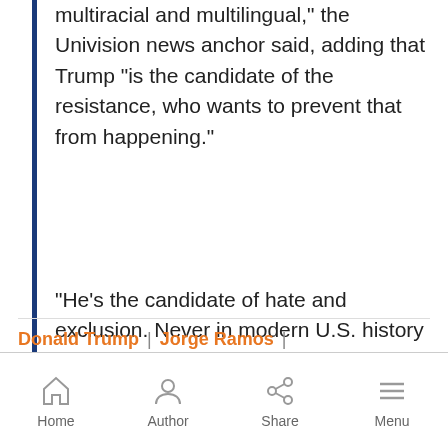multiracial and multilingual," the Univision news anchor said, adding that Trump "is the candidate of the resistance, who wants to prevent that from happening."
"He's the candidate of hate and exclusion. Never in modern U.S. history have we had such a clear dilemma: choosing between a tolerant country comprised of minorities or a racist country comprised of a white majority," he said.
...
Donald Trump | Jorge Ramos |
Home  Author  Share  Menu